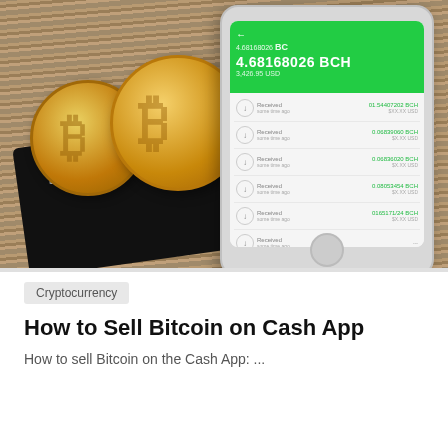[Figure (photo): Photo of two gold Bitcoin coins resting on a black Satoshi Nakamoto card/wallet, with a smartphone showing a Bitcoin Cash wallet app with green header displaying balance 4.68168026 BCH and a list of received transactions. Background is a wooden surface.]
Cryptocurrency
How to Sell Bitcoin on Cash App
How to sell Bitcoin on the Cash App: ...